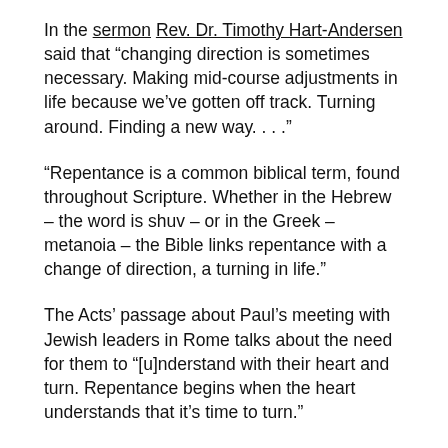In the sermon Rev. Dr. Timothy Hart-Andersen said that “changing direction is sometimes necessary. Making mid-course adjustments in life because we’ve gotten off track. Turning around. Finding a new way. . . .”
“Repentance is a common biblical term, found throughout Scripture. Whether in the Hebrew – the word is shuv – or in the Greek – metanoia – the Bible links repentance with a change of direction, a turning in life.”
The Acts’ passage about Paul’s meeting with Jewish leaders in Rome talks about the need for them to “[u]nderstand with their heart and turn. Repentance begins when the heart understands that it’s time to turn.”
That’s precisely what the prophet Jeremiah has in mind when he speaks to the Israelites in Babylonian captivity. From the “prophet’s perspective the people had lost their way. He tells them their hope lies in turning and finding